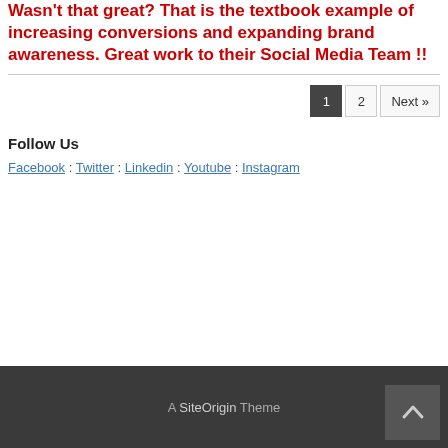Wasn't that great? That is the textbook example of increasing conversions and expanding brand awareness. Great work to their Social Media Team !!
Pagination: 1, 2, Next »
Follow Us
Facebook : Twitter : Linkedin : Youtube : Instagram
A SiteOrigin Theme